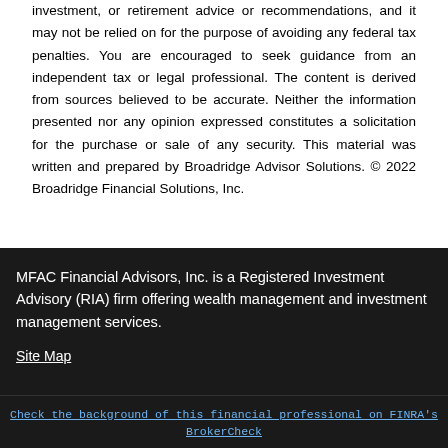investment, or retirement advice or recommendations, and it may not be relied on for the purpose of avoiding any federal tax penalties. You are encouraged to seek guidance from an independent tax or legal professional. The content is derived from sources believed to be accurate. Neither the information presented nor any opinion expressed constitutes a solicitation for the purchase or sale of any security. This material was written and prepared by Broadridge Advisor Solutions. © 2022 Broadridge Financial Solutions, Inc.
MFAC Financial Advisors, Inc. is a Registered Investment Advisory (RIA) firm offering wealth management and investment management services.
Site Map
Check the background of this financial professional on FINRA's BrokerCheck